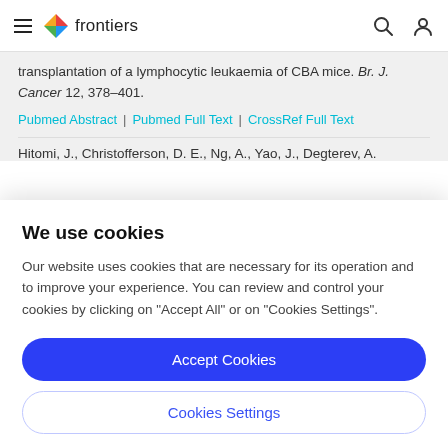frontiers
transplantation of a lymphocytic leukaemia of CBA mice. Br. J. Cancer 12, 378–401.
Pubmed Abstract | Pubmed Full Text | CrossRef Full Text
Hitomi, J., Christofferson, D. E., Ng, A., Yao, J., Degterev, A.
We use cookies
Our website uses cookies that are necessary for its operation and to improve your experience. You can review and control your cookies by clicking on "Accept All" or on "Cookies Settings".
Accept Cookies
Cookies Settings